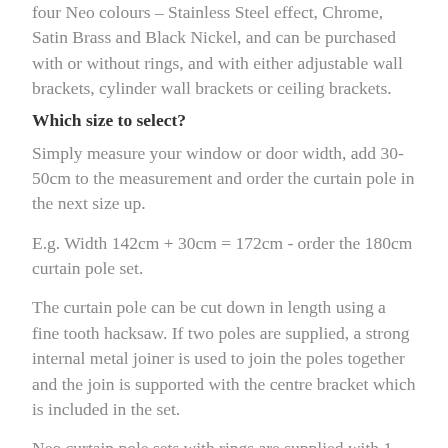four Neo colours – Stainless Steel effect, Chrome, Satin Brass and Black Nickel, and can be purchased with or without rings, and with either adjustable wall brackets, cylinder wall brackets or ceiling brackets.
Which size to select?
Simply measure your window or door width, add 30-50cm to the measurement and order the curtain pole in the next size up.
E.g. Width 142cm + 30cm = 172cm - order the 180cm curtain pole set.
The curtain pole can be cut down in length using a fine tooth hacksaw. If two poles are supplied, a strong internal metal joiner is used to join the poles together and the join is supported with the centre bracket which is included in the set.
Neo curtain pole sets with rings are supplied with 1 ring per 10cm of pole. This is the standard specification and would suit most applications but if you have heavy curtains or if you just prefer more rings, these can be purchased in packs of six